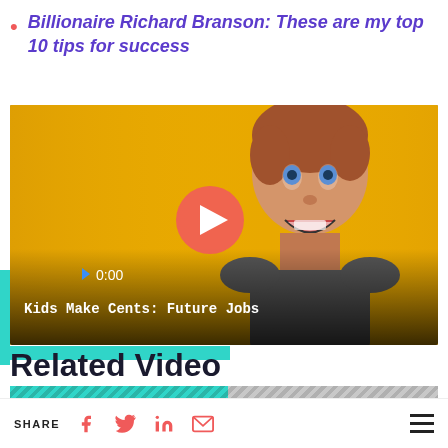Billionaire Richard Branson: These are my top 10 tips for success
[Figure (screenshot): Video thumbnail showing a young boy with an excited expression against a yellow background, with a red play button in the center. Video time shows 0:00. Title reads 'Kids Make Cents: Future Jobs']
Related Video
SHARE (Facebook, Twitter, LinkedIn, Email icons) | Hamburger menu